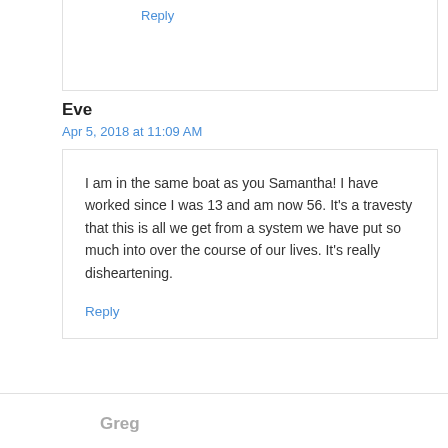Reply
Eve
Apr 5, 2018 at 11:09 AM
I am in the same boat as you Samantha! I have worked since I was 13 and am now 56. It’s a travesty that this is all we get from a system we have put so much into over the course of our lives. It’s really disheartening.
Reply
Greg